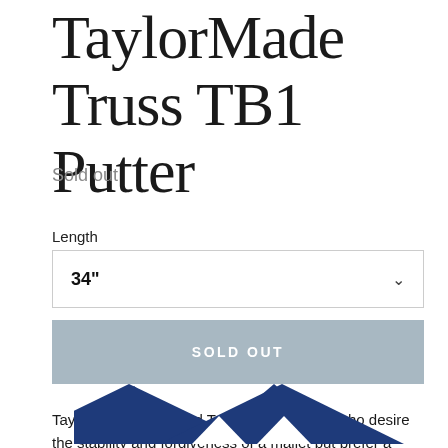TaylorMade Truss TB1 Putter
Sold out
Length
34"
SOLD OUT
TaylorMade developed Truss™ for players who desire the stability and forgiveness of a mallet but prefer a more traditional look at address.
[Figure (logo): TaylorMade logo with blue triangle/chevron shapes]